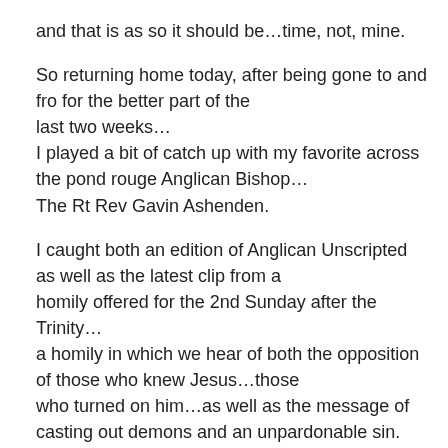and that is as so it should be…time, not, mine.
So returning home today, after being gone to and fro for the better part of the last two weeks…
I played a bit of catch up with my favorite across the pond rouge Anglican Bishop…
The Rt Rev Gavin Ashenden.
I caught both an edition of Anglican Unscripted as well as the latest clip from a homily offered for the 2nd Sunday after the Trinity… a homily in which we hear of both the opposition of those who knew Jesus…those who turned on him…as well as the message of casting out demons and an unpardonable sin.